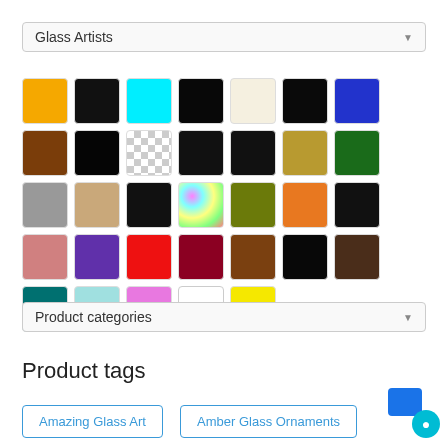[Figure (screenshot): Dropdown selector labeled 'Glass Artists' with a downward arrow]
[Figure (infographic): Color swatch grid with 33 color squares arranged in 4 rows, showing various colors including yellow, black, cyan, black, cream, black, blue, brown, black (row1), checkered/transparent, black, black, gold, green, gray, tan, black, rainbow (row2), olive, orange, black, pink, purple, red, dark red, brown, black (row3), dark brown, teal, light blue, pink/violet, white, yellow (row4)]
[Figure (screenshot): Dropdown selector labeled 'Product categories' with a downward arrow]
Product tags
Amazing Glass Art
Amber Glass Ornaments